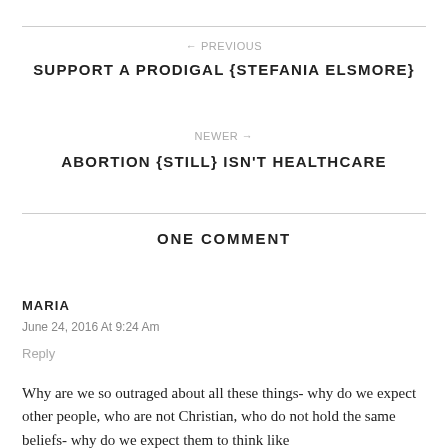← PREVIOUS
SUPPORT A PRODIGAL {STEFANIA ELSMORE}
NEWER →
ABORTION {STILL} ISN'T HEALTHCARE
ONE COMMENT
MARIA
June 24, 2016 At 9:24 Am
Reply
Why are we so outraged about all these things- why do we expect other people, who are not Christian, who do not hold the same beliefs- why do we expect them to think like